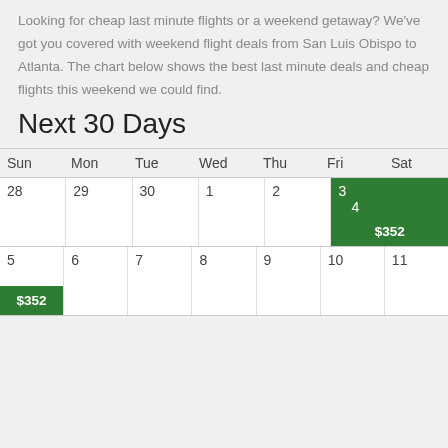Looking for cheap last minute flights or a weekend getaway? We've got you covered with weekend flight deals from San Luis Obispo to Atlanta. The chart below shows the best last minute deals and cheap flights this weekend we could find.
Next 30 Days
| Sun | Mon | Tue | Wed | Thu | Fri | Sat |
| --- | --- | --- | --- | --- | --- | --- |
| 28 | 29 | 30 | 1 | 2 | 3 | 4 / $352 |
| 5 / $352 | 6 | 7 | 8 | 9 | 10 | 11 |